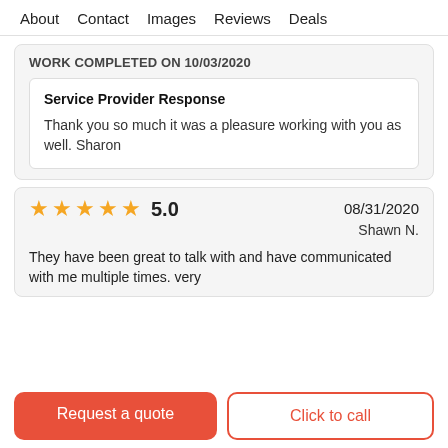About   Contact   Images   Reviews   Deals
WORK COMPLETED ON 10/03/2020
Service Provider Response
Thank you so much it was a pleasure working with you as well. Sharon
5.0   08/31/2020   Shawn N.
They have been great to talk with and have communicated with me multiple times. very
Request a quote
Click to call